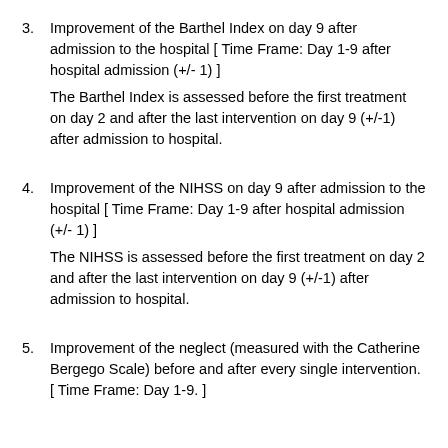3. Improvement of the Barthel Index on day 9 after admission to the hospital [ Time Frame: Day 1-9 after hospital admission (+/- 1) ]
The Barthel Index is assessed before the first treatment on day 2 and after the last intervention on day 9 (+/-1) after admission to hospital.
4. Improvement of the NIHSS on day 9 after admission to the hospital [ Time Frame: Day 1-9 after hospital admission (+/- 1) ]
The NIHSS is assessed before the first treatment on day 2 and after the last intervention on day 9 (+/-1) after admission to hospital.
5. Improvement of the neglect (measured with the Catherine Bergego Scale) before and after every single intervention. [ Time Frame: Day 1-9. ]